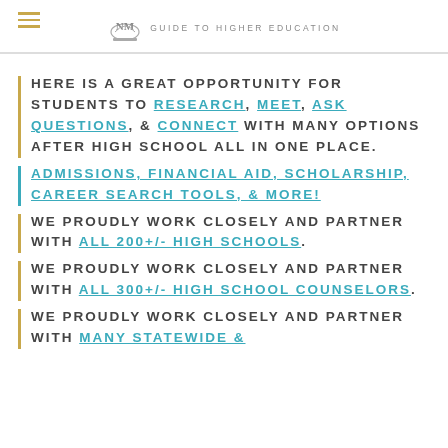GUIDE TO HIGHER EDUCATION
HERE IS A GREAT OPPORTUNITY FOR STUDENTS TO RESEARCH, MEET, ASK QUESTIONS, & CONNECT WITH MANY OPTIONS AFTER HIGH SCHOOL ALL IN ONE PLACE.
ADMISSIONS, FINANCIAL AID, SCHOLARSHIP, CAREER SEARCH TOOLS, & MORE!
WE PROUDLY WORK CLOSELY AND PARTNER WITH ALL 200+/- HIGH SCHOOLS.
WE PROUDLY WORK CLOSELY AND PARTNER WITH ALL 300+/- HIGH SCHOOL COUNSELORS.
WE PROUDLY WORK CLOSELY AND PARTNER WITH MANY STATEWIDE &